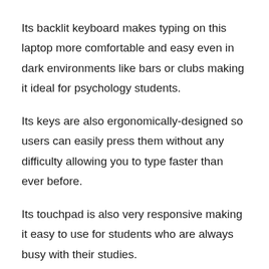Its backlit keyboard makes typing on this laptop more comfortable and easy even in dark environments like bars or clubs making it ideal for psychology students.
Its keys are also ergonomically-designed so users can easily press them without any difficulty allowing you to type faster than ever before.
Its touchpad is also very responsive making it easy to use for students who are always busy with their studies.
Ports and Connectivity